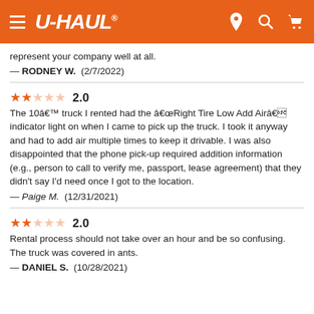U-HAUL
represent your company well at all.
— RODNEY W.  (2/7/2022)
2.0 — The 10â€™ truck I rented had the â€œRight Tire Low Add Airâ€ indicator light on when I came to pick up the truck. I took it anyway and had to add air multiple times to keep it drivable. I was also disappointed that the phone pick-up required addition information (e.g., person to call to verify me, passport, lease agreement) that they didn't say I'd need once I got to the location.
— Paige M.  (12/31/2021)
2.0 — Rental process should not take over an hour and be so confusing. The truck was covered in ants.
— DANIEL S.  (10/28/2021)